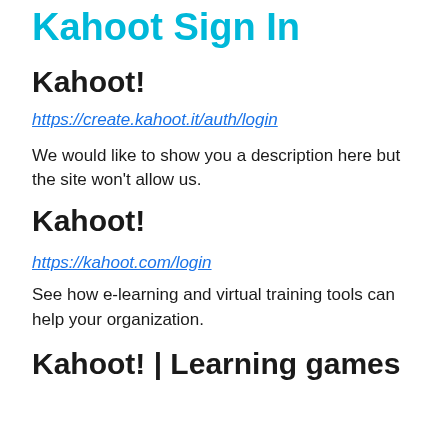Kahoot Sign In
Kahoot!
https://create.kahoot.it/auth/login
We would like to show you a description here but the site won't allow us.
Kahoot!
https://kahoot.com/login
See how e-learning and virtual training tools can help your organization.
Kahoot! | Learning games